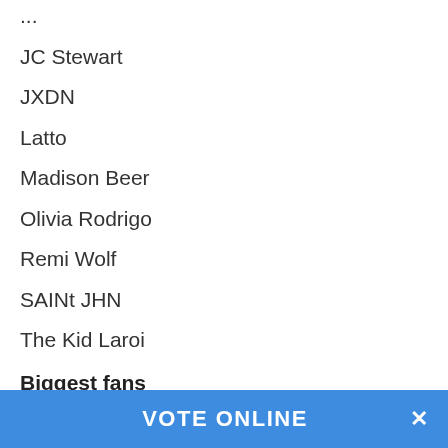JC Stewart
JXDN
Latto
Madison Beer
Olivia Rodrigo
Remi Wolf
SAINt JHN
The Kid Laroi
Biggest fans
Ariana Grande
Blackpink
BTS
Justin Bieber
Lady Gaga
Taylor Swift
VOTE ONLINE ×